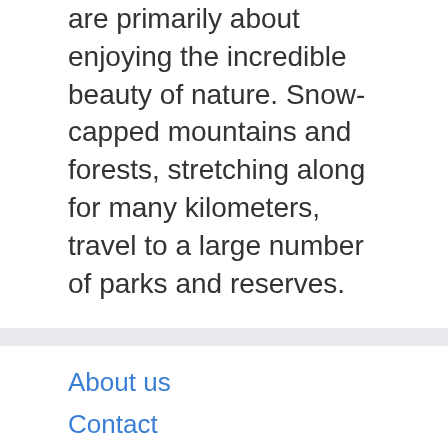are primarily about enjoying the incredible beauty of nature. Snow-capped mountains and forests, stretching along for many kilometers, travel to a large number of parks and reserves.
About us
Contact
Privacy Policy & Cookies
ATTENTION TO RIGHT HOLDERS! All materials are posted on the site strictly for informational and educational purposes! If you believe that the posting of any material infringes your copyright, be sure to contact